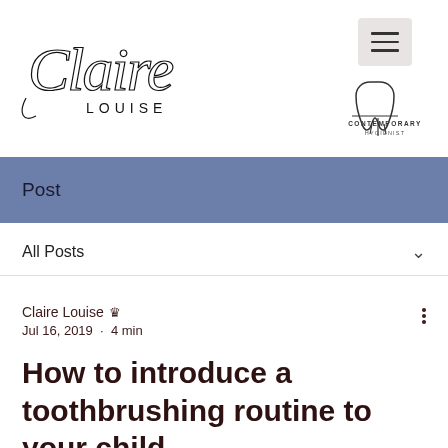[Figure (logo): Claire Louise signature logo in cursive script with 'LOUISE' printed below in spaced lettering]
[Figure (logo): Hamburger menu icon (three horizontal lines) in a light gray rounded square]
[Figure (logo): Contemporary Hygienist tooth logo with 'CONTEMPORARY HYGIENIST' text below]
Post
All Posts
Claire Louise  Jul 16, 2019  ·  4 min
How to introduce a toothbrushing routine to your child